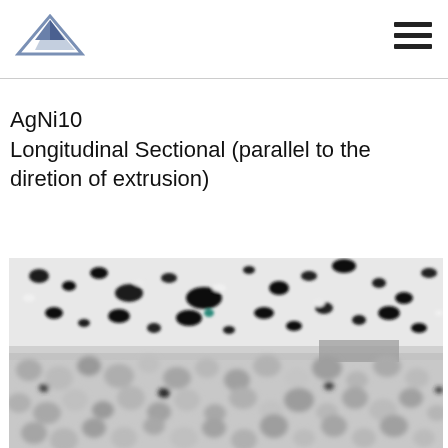AgNi10
Longitudinal Sectional (parallel to the diretion of extrusion)
[Figure (photo): Microscopy image of AgNi10 longitudinal cross-section (parallel to the direction of extrusion). The image shows a grayscale metallographic micrograph with dark and light spots representing nickel particles dispersed in a silver matrix. Two zones are visible: an upper region with larger, more scattered dark particles on a light background, and a lower region with densely packed rounded gray particles.]